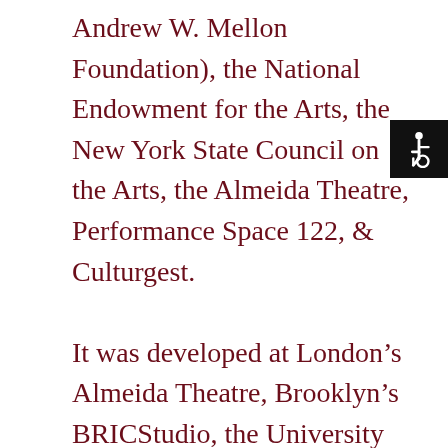Andrew W. Mellon Foundation), the National Endowment for the Arts, the New York State Council on the Arts, the Almeida Theatre, Performance Space 122, & Culturgest.

It was developed at London's Almeida Theatre, Brooklyn's BRICStudio, the University of Nevada Las Vegas, LMCC's Swing Space grant at Building 110 on Governors Island, the Orchard Project, Soho Think Tank's Ice Factory Festival, CUNY's Prelude
[Figure (other): Accessibility icon (wheelchair symbol) in white on black background]